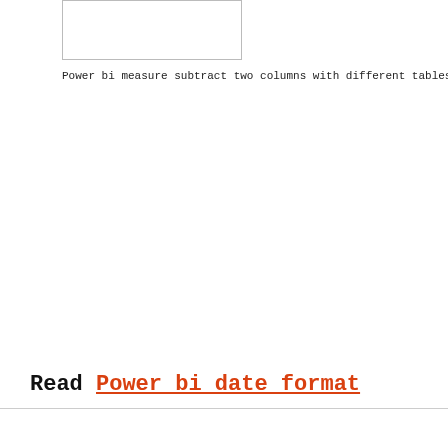[Figure (other): Empty white rectangle with border, likely a placeholder image]
Power bi measure subtract two columns with different tables
Read Power bi date format